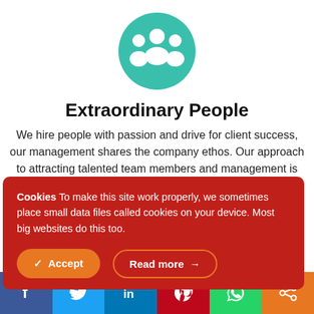[Figure (illustration): Teal circular icon with white people/group silhouette]
Extraordinary People
We hire people with passion and drive for client success, our management shares the company ethos. Our approach to attracting talented team members and management is d[ifferent, rewarding our hard-]working people in the [industry.]
Cookies To make this site work properly, we sometimes place small data files called cookies on your device. Most big websites do this too.
[Figure (infographic): Social media share bar with Facebook, Twitter, LinkedIn, Pinterest, WhatsApp, and Share icons]